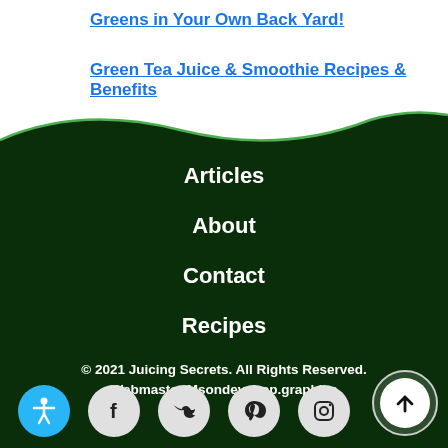Greens in Your Own Back Yard!
Green Tea Juice & Smoothie Recipes & Benefits
[Figure (illustration): Green wave separator dividing white top section from dark green footer]
Articles
About
Contact
Recipes
© 2021 Juicing Secrets. All Rights Reserved. Webmaster Msondevshop.graphics
[Figure (other): Social media icons row: accessibility icon (blue circle), Facebook, Twitter, Pinterest, Instagram, and a scroll-to-top button (white circle with up arrow)]